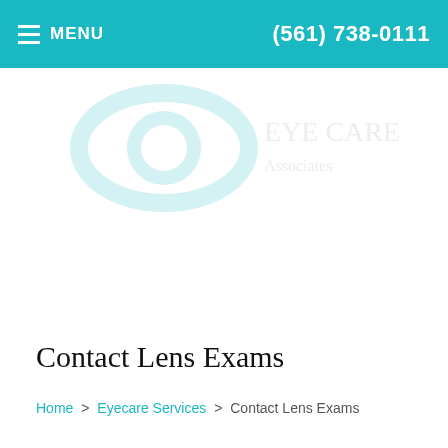≡ MENU    (561) 738-0111
[Figure (logo): Eye care clinic logo — partially visible teal/grey circular eye logo watermark]
Contact Lens Exams
Home > Eyecare Services > Contact Lens Exams